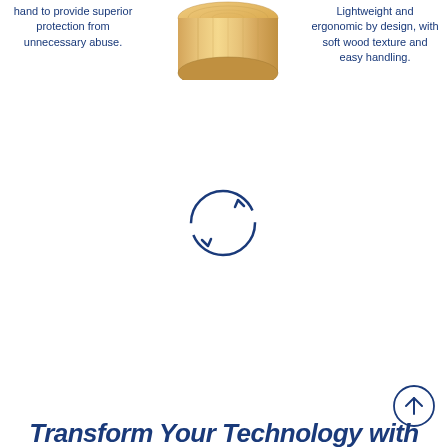hand to provide superior protection from unnecessary abuse.
[Figure (photo): A wooden cylindrical object (possibly a wooden block or container) with natural wood grain texture, warm beige/honey color, shown from above at slight angle.]
Lightweight and ergonomic by design, with soft wood texture and easy handling.
[Figure (illustration): A circular refresh/recycle icon made of two curved arrows forming a circle, rendered in dark navy blue.]
[Figure (illustration): An upward arrow inside a circle (scroll-to-top button), rendered in dark navy blue outline style.]
Transform Your Technology with